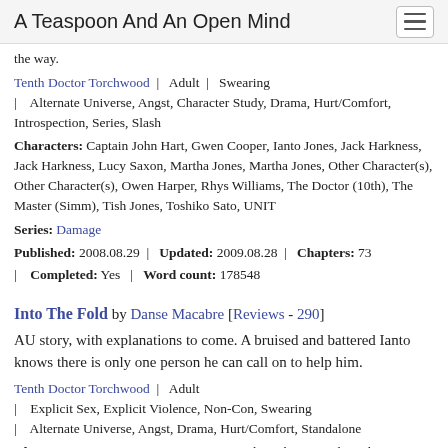A Teaspoon And An Open Mind
the way.
Tenth Doctor | Torchwood | Adult | Swearing | Alternate Universe, Angst, Character Study, Drama, Hurt/Comfort, Introspection, Series, Slash
Characters: Captain John Hart, Gwen Cooper, Ianto Jones, Jack Harkness, Jack Harkness, Lucy Saxon, Martha Jones, Martha Jones, Other Character(s), Other Character(s), Owen Harper, Rhys Williams, The Doctor (10th), The Master (Simm), Tish Jones, Toshiko Sato, UNIT
Series: Damage
Published: 2008.08.29 | Updated: 2009.08.28 | Chapters: 73 | Completed: Yes | Word count: 178548
Into The Fold by Danse Macabre [Reviews - 290]
AU story, with explanations to come. A bruised and battered Ianto knows there is only one person he can call on to help him.
Tenth Doctor | Torchwood | Adult | Explicit Sex, Explicit Violence, Non-Con, Swearing | Alternate Universe, Angst, Drama, Hurt/Comfort, Standalone
Characters: Gwen Cooper, Ianto Jones, Jack Harkness, Jack Harkness,